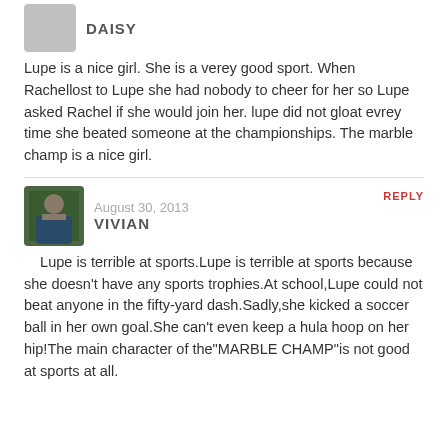DAISY
Lupe is a nice girl. She is a verey good sport. When Rachellost to Lupe she had nobody to cheer for her so Lupe asked Rachel if she would join her. lupe did not gloat evrey time she beated someone at the championships. The marble champ is a nice girl.
August 30, 2013  VIVIAN  REPLY
Lupe is terrible at sports.Lupe is terrible at sports because she doesn't have any sports trophies.At school,Lupe could not beat anyone in the fifty-yard dash.Sadly,she kicked a soccer ball in her own goal.She can't even keep a hula hoop on her hip!The main character of the"MARBLE CHAMP"is not good at sports at all.